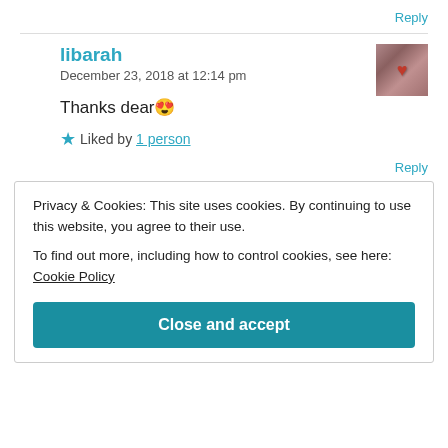Reply
libarah
December 23, 2018 at 12:14 pm
Thanks dear 😍
Liked by 1 person
Reply
Privacy & Cookies: This site uses cookies. By continuing to use this website, you agree to their use. To find out more, including how to control cookies, see here: Cookie Policy
Close and accept